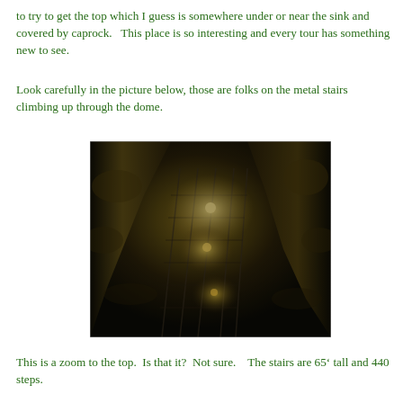to try to get the top which I guess is somewhere under or near the sink and covered by caprock.   This place is so interesting and every tour has something new to see.
Look carefully in the picture below, those are folks on the metal stairs climbing up through the dome.
[Figure (photo): Dark cave or dome interior with yellowish-lit rocky walls and metal stairs visible with people climbing through the dome. The scene is dimly lit with headlamps or lights visible on the stairs.]
This is a zoom to the top.  Is that it?  Not sure.    The stairs are 65’ tall and 440 steps.